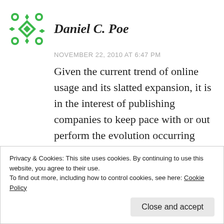Daniel C. Poe
NOVEMBER 22, 2010 AT 6:47 PM
Given the current trend of online usage and its slatted expansion, it is in the interest of publishing companies to keep pace with or out perform the evolution occurring within the industry. To this point, most have managed to come to terms with these matters. However, they have not been so successful in fending off
Privacy & Cookies: This site uses cookies. By continuing to use this website, you agree to their use.
To find out more, including how to control cookies, see here: Cookie Policy
Close and accept